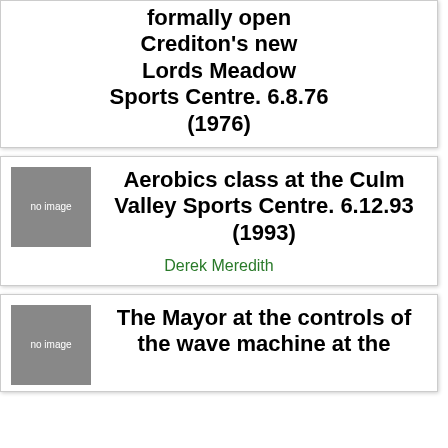formally open Crediton's new Lords Meadow Sports Centre. 6.8.76 (1976)
[Figure (photo): no image placeholder box]
Aerobics class at the Culm Valley Sports Centre. 6.12.93 (1993)
Derek Meredith
[Figure (photo): no image placeholder box]
The Mayor at the controls of the wave machine at the